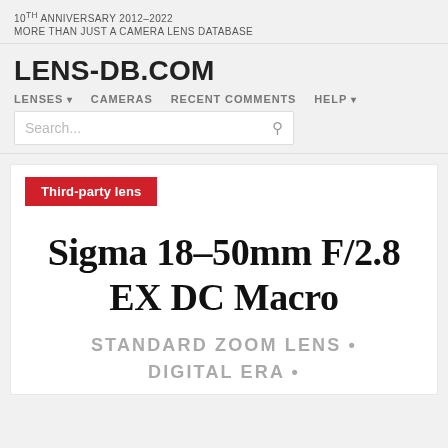10TH ANNIVERSARY 2012–2022
MORE THAN JUST A CAMERA LENS DATABASE
LENS-DB.COM
LENSES  CAMERAS  RECENT COMMENTS  HELP
Search...
Third-party lens
Sigma 18-50mm F/2.8 EX DC Macro
STANDARD ZOOM LENS • DIGITAL ERA •